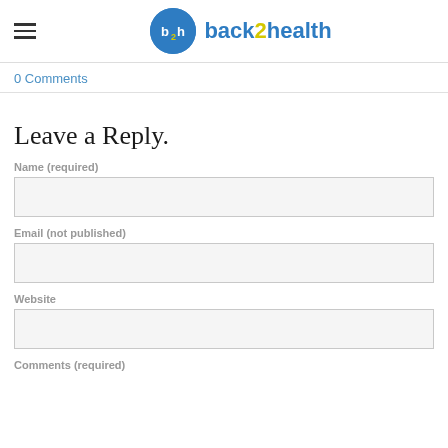back2health
0 Comments
Leave a Reply.
Name (required)
Email (not published)
Website
Comments (required)